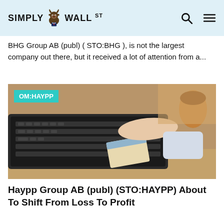SIMPLY WALL ST
BHG Group AB (publ) ( STO:BHG ), is not the largest company out there, but it received a lot of attention from a...
[Figure (photo): Person typing on laptop keyboard while holding a credit card, with a coffee cup in the background. Badge reads OM:HAYPP.]
Haypp Group AB (publ) (STO:HAYPP) About To Shift From Loss To Profit